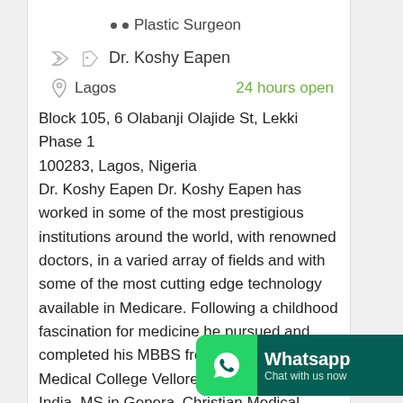Plastic Surgeon
Dr. Koshy Eapen
Lagos   24 hours open
Block 105, 6 Olabanji Olajide St, Lekki Phase 1 100283, Lagos, Nigeria
Dr. Koshy Eapen Dr. Koshy Eapen has worked in some of the most prestigious institutions around the world, with renowned doctors, in a varied array of fields and with some of the most cutting edge technology available in Medicare. Following a childhood fascination for medicine he pursued and completed his MBBS from the Christian Medical College Vellore, Madras University India, MS in General Christian Medical College and with Dip NB in General Surgery and
[Figure (logo): WhatsApp Chat with us now banner button]